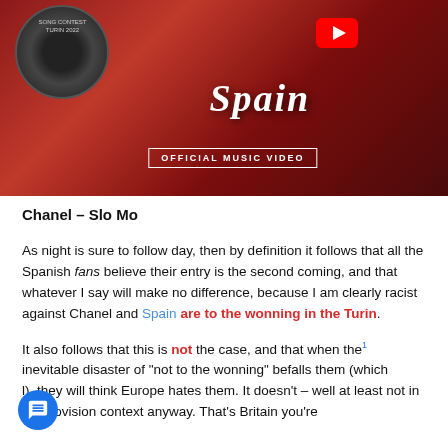[Figure (screenshot): Eurovision Song Contest Spain Official Music Video thumbnail with red/dark background, YouTube play icon, vinyl record, and 'Spain OFFICIAL MUSIC VIDEO' text]
Chanel – Slo Mo
As night is sure to follow day, then by definition it follows that all the Spanish fans believe their entry is the second coming, and that whatever I say will make no difference, because I am clearly racist against Chanel and Spain are to the wonning in the Turin.
It also follows that this is not the case, and that when the inevitable disaster of "not to the wonning" befalls them (which [it] will), they will think Europe hates them. It doesn't – well at least not in a Eurovision context anyway. That's Britain you're